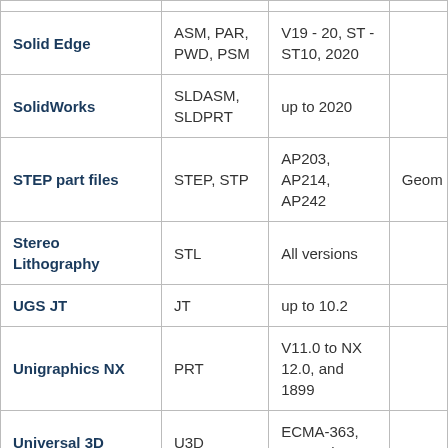| Name | Extensions | Versions | Notes |
| --- | --- | --- | --- |
| Solid Edge | ASM, PAR, PWD, PSM | V19 - 20, ST - ST10, 2020 |  |
| SolidWorks | SLDASM, SLDPRT | up to 2020 |  |
| STEP part files | STEP, STP | AP203, AP214, AP242 | Geom |
| Stereo Lithography | STL | All versions |  |
| UGS JT | JT | up to 10.2 |  |
| Unigraphics NX | PRT | V11.0 to NX 12.0, and 1899 |  |
| Universal 3D | U3D | ECMA-363, 1st, 2nd & |  |